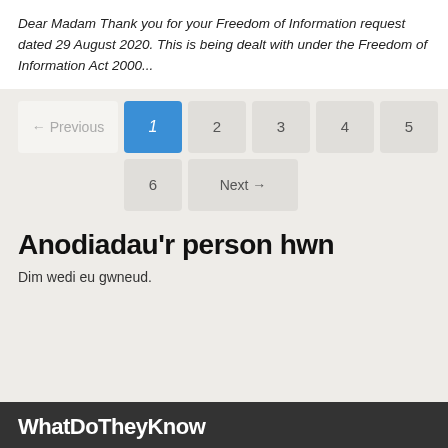Dear Madam Thank you for your Freedom of Information request dated 29 August 2020. This is being dealt with under the Freedom of Information Act 2000...
[Figure (other): Pagination navigation with Previous button (greyed), active page 1 (blue), pages 2-6, and Next button]
Anodiadau'r person hwn
Dim wedi eu gwneud.
WhatDoTheyKnow